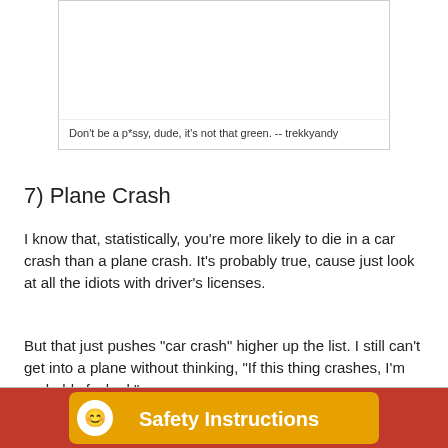[Figure (photo): Image placeholder with caption below]
Don't be a p*ssy, dude, it's not that green. -- trekkyandy
7) Plane Crash
I know that, statistically, you're more likely to die in a car crash than a plane crash. It's probably true, cause just look at all the idiots with driver's licenses.
But that just pushes "car crash" higher up the list. I still can't get into a plane without thinking, "If this thing crashes, I'm probably fucked."
[Figure (photo): Safety Instructions sign on red and yellow background]